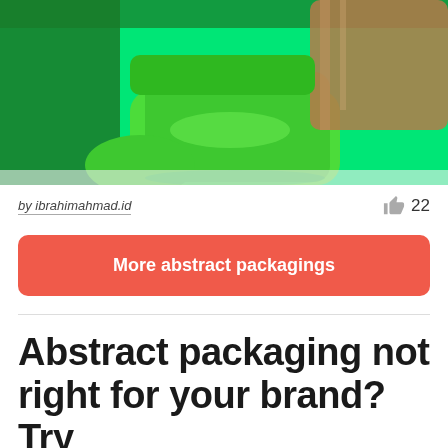[Figure (photo): Close-up 3D render of green abstract packaging/container shapes on a bright green background]
by ibrahimahmad.id
22
More abstract packagings
Abstract packaging not right for your brand? Try